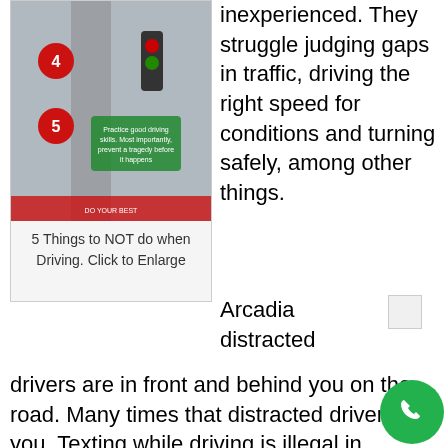[Figure (infographic): Infographic titled '5 Things to NOT do when Driving' showing numbered tips with traffic-related imagery]
5 Things to NOT do when Driving. Click to Enlarge
inexperienced. They struggle judging gaps in traffic, driving the right speed for conditions and turning safely, among other things.
Arcadia distracted drivers are in front and behind you on the road. Many times that distracted driver is you. Texting while driving is illegal in Arcadia, however, you see drivers with cell phones in front of their face all the time. Sending or receiving a text message distracts a driver for about five seconds; at highway speeds, that represents a distance of about 300 feet in